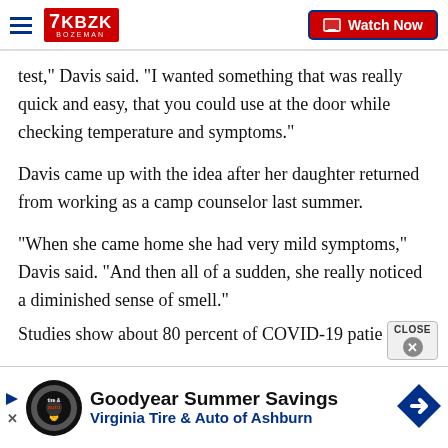7KBZK BOZEMAN — Watch Now
test,” Davis said. “I wanted something that was really quick and easy, that you could use at the door while checking temperature and symptoms.”
Davis came up with the idea after her daughter returned from working as a camp counselor last summer.
“When she came home she had very mild symptoms,” Davis said. “And then all of a sudden, she really noticed a diminished sense of smell.”
Studies show about 80 percent of COVID-19 patie…
[Figure (infographic): Goodyear Summer Savings advertisement banner for Virginia Tire & Auto of Ashburn, with tire-and-auto logo circle, Goodyear diamond arrow sign icon, play button, and close button.]